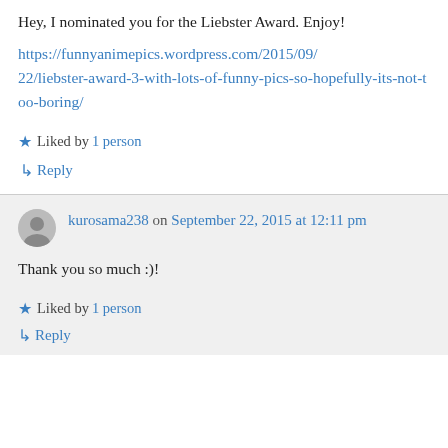Hey, I nominated you for the Liebster Award. Enjoy!
https://funnyanimepics.wordpress.com/2015/09/22/liebster-award-3-with-lots-of-funny-pics-so-hopefully-its-not-too-boring/
Liked by 1 person
↳ Reply
kurosama238 on September 22, 2015 at 12:11 pm
Thank you so much :)!
Liked by 1 person
↳ Reply